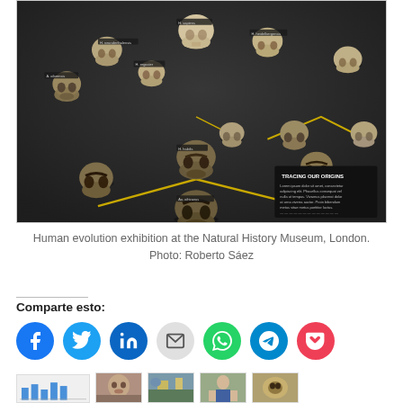[Figure (photo): Museum display of human skull casts arranged on a dark wall panel showing human evolution, with labels and yellow connecting lines. Text panel reads 'TRACING OUR ORIGINS'. Natural History Museum, London.]
Human evolution exhibition at the Natural History Museum, London.
Photo: Roberto Sáez
Comparte esto:
[Figure (infographic): Row of social sharing buttons: Facebook (blue), Twitter (light blue), LinkedIn (dark blue), Email (grey), WhatsApp (green), Telegram (blue), Pocket (red)]
[Figure (infographic): Row of thumbnail images at the bottom of the page: a bar chart thumbnail, a face/portrait, a scene, a person, and another image]